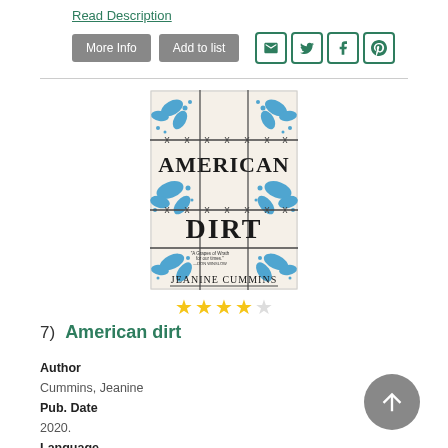Read Description
More Info | Add to list
[Figure (illustration): Book cover of American Dirt by Jeanine Cummins. White background with blue decorative floral/leaf patterns and barbed wire. Title 'AMERICAN DIRT' in large dark serif font; author name 'JEANINE CUMMINS' at bottom.]
[Figure (other): 4 out of 5 star rating — 4 gold stars and 1 empty star]
7)  American dirt
Author
Cummins, Jeanine
Pub. Date
2020.
Language
English